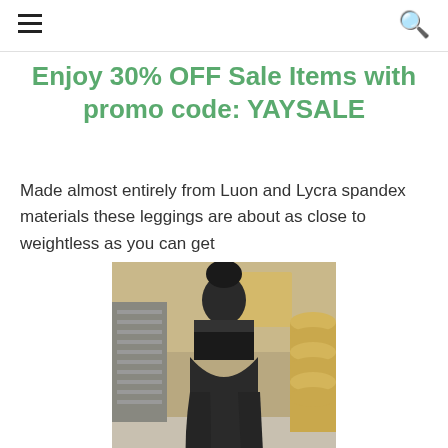☰  🔍
Enjoy 30% OFF Sale Items with promo code: YAYSALE
Made almost entirely from Luon and Lycra spandex materials these leggings are about as close to weightless as you can get
[Figure (photo): Person wearing black leggings photographed from behind in a warehouse/workshop setting, showing the fit of the leggings]